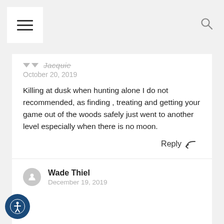Navigation menu and search icon
October 20, 2019
Killing at dusk when hunting alone I do not recommended, as finding , treating and getting your game out of the woods safely just went to another level especially when there is no moon.
Reply
Wade Thiel
December 19, 2019